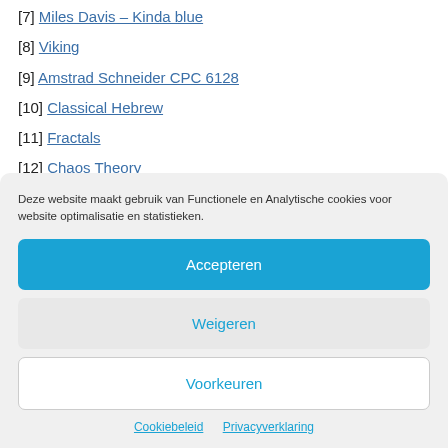[7] Miles Davis – Kinda blue
[8] Viking
[9] Amstrad Schneider CPC 6128
[10] Classical Hebrew
[11] Fractals
[12] Chaos Theory
Deze website maakt gebruik van Functionele en Analytische cookies voor website optimalisatie en statistieken.
Accepteren
Weigeren
Voorkeuren
Cookiebeleid   Privacyverklaring